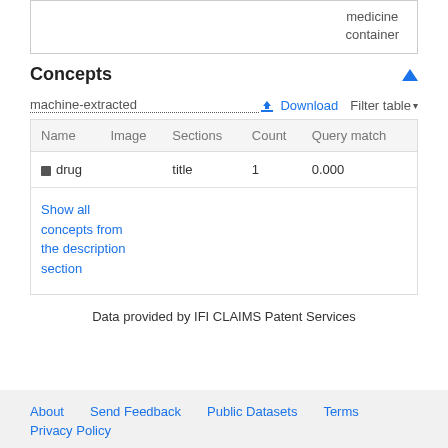medicine container
Concepts
machine-extracted
| Name | Image | Sections | Count | Query match |
| --- | --- | --- | --- | --- |
| drug |  | title | 1 | 0.000 |
Show all concepts from the description section
Data provided by IFI CLAIMS Patent Services
About   Send Feedback   Public Datasets   Terms   Privacy Policy